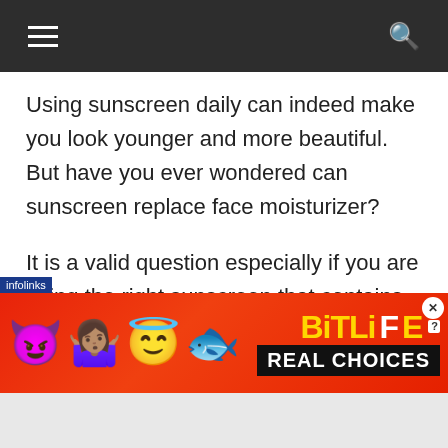Navigation bar with hamburger menu and search icon
Using sunscreen daily can indeed make you look younger and more beautiful. But have you ever wondered can sunscreen replace face moisturizer?
It is a valid question especially if you are using the right sunscreen that contains UVA and UVB protection.
[Figure (infographic): Advertisement banner for BitLife mobile game featuring devil emoji, woman shrugging emoji, angel emoji, and sperm emoji with text 'BitLife REAL CHOICES' on red background. Infolinks label in bottom-left corner.]